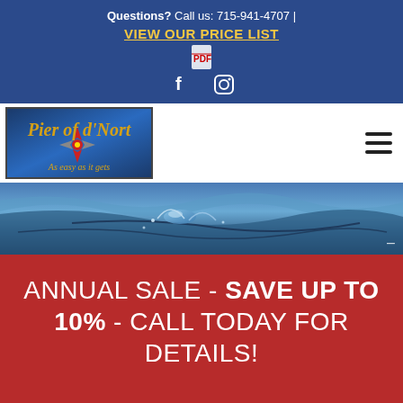Questions? Call us: 715-941-4707 | VIEW OUR PRICE LIST
[Figure (logo): Pier of d'Nort logo with compass rose, tagline: As easy as it gets]
[Figure (photo): Water surface with ripples and splashes, blue tones]
ANNUAL SALE - SAVE UP TO 10% - CALL TODAY FOR DETAILS!